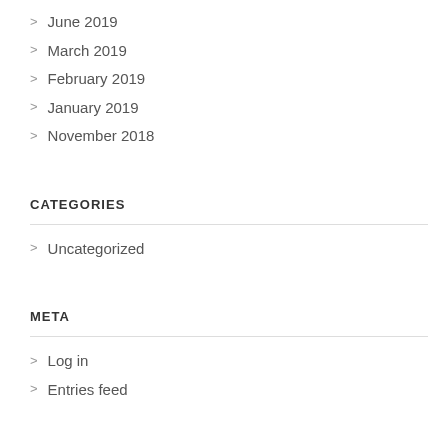June 2019
March 2019
February 2019
January 2019
November 2018
CATEGORIES
Uncategorized
META
Log in
Entries feed